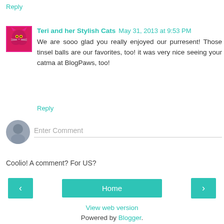Reply
Teri and her Stylish Cats   May 31, 2013 at 9:53 PM
We are sooo glad you really enjoyed our purresent! Those tinsel balls are our favorites, too! it was very nice seeing your catma at BlogPaws, too!
Reply
Enter Comment
Coolio! A comment? For US?
Home
View web version
Powered by Blogger.